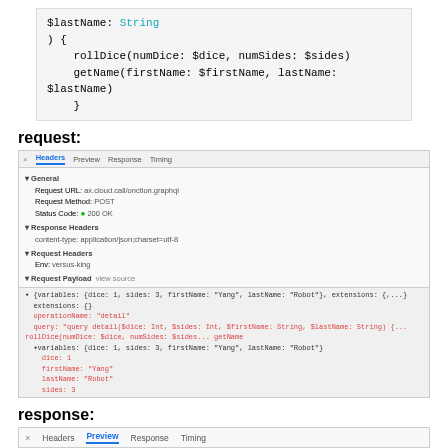[Figure (screenshot): Code block showing GraphQL mutation with $lastName: String, ) { rollDice(numDice: $dice, numSides: $sides) getName(firstName: $firstName, lastName: $lastName) }]
request:
[Figure (screenshot): Chrome DevTools Network panel showing HTTP request with Headers, Preview, Response, Timing tabs. General section shows Request URL, Request Method: POST, Status Code: 200 OK. Response Headers show content-type: application/json. Request Headers show env: versus-king. Request Payload shows view source with variables, extensions, query and variables dice:1, sides:3, firstName: Yang, lastName: Robot]
response:
[Figure (screenshot): Chrome DevTools Network panel showing response Preview tab with result: {data: {rollDice: [1, 3], getName: 'Yang Robot'}}, requestID: local_debug_d18d56c8-bac3-4357-96bf-650cee2e4928, result: {data: {rollDice: [1, 3], getName: 'Yang Robot'}}]